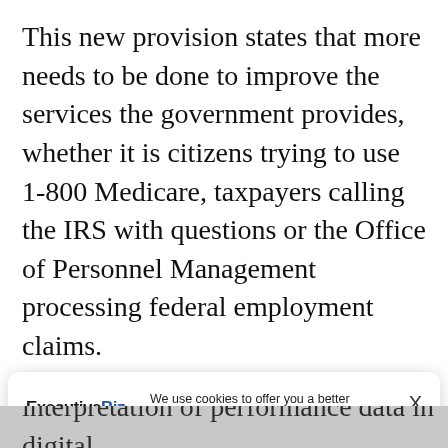This new provision states that more needs to be done to improve the services the government provides, whether it is citizens trying to use 1-800 Medicare, taxpayers calling the IRS with questions or the Office of Personnel Management processing federal employment claims.
Even before this congressional nudge, federal
[Figure (other): Cookie consent overlay dialog with ExecutiveBiz logo on left, cookie policy text in center, and X close button on right. Text reads: We use cookies to offer you a better browsing experience, analyze site traffic, personalize content, and serve targeted advertisements. Read about how we use cookies and how you can control them on our Privacy Policy. If you continue to use this site, you consent to our use of cookies.]
interpretation of performance data in digital